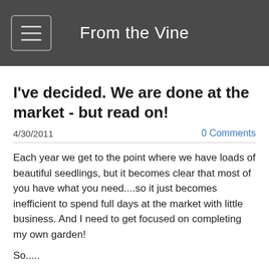From the Vine
I've decided. We are done at the market - but read on!
4/30/2011   0 Comments
Each year we get to the point where we have loads of beautiful seedlings, but it becomes clear that most of you have what you need....so it just becomes inefficient to spend full days at the market with little business.  And I need to get focused on completing my own garden!
So.....
Sale time!  And continued sales from our driveway time!
For the next few weeks, plant prices are reduced to 2.00 per pot - and we have so, so much beautiful stock remaining.  What you will need to do is send an email (as many of you gather, I am an email, rather than